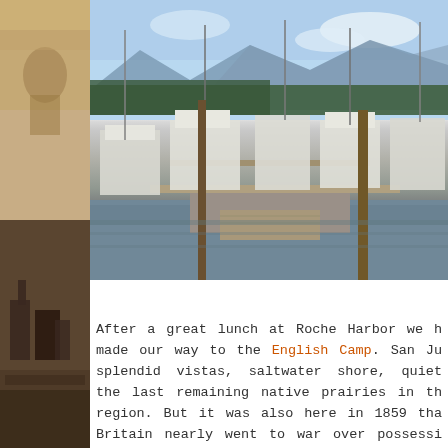[Figure (photo): Sepia-toned vintage photographs on left strip showing coastal/architectural scenes]
[Figure (photo): Color photograph of a marina at Roche Harbor with numerous boats moored at docks, forested hills and mountains in background under blue sky]
After a great lunch at Roche Harbor we made our way to the English Camp. San Ju... splendid vistas, saltwater shore, quiet the last remaining native prairies in th... region. But it was also here in 1859 tha... Britain nearly went to war over possessi... ignited by the death of a pig. The Royal...